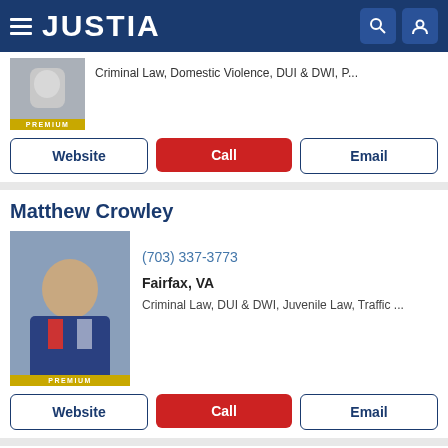JUSTIA
Criminal Law, Domestic Violence, DUI & DWI, P...
Website | Call | Email
Matthew Crowley
(703) 337-3773
Fairfax, VA
Criminal Law, DUI & DWI, Juvenile Law, Traffic ...
Website | Call | Email
Stacy Costello
(703) 883-0102